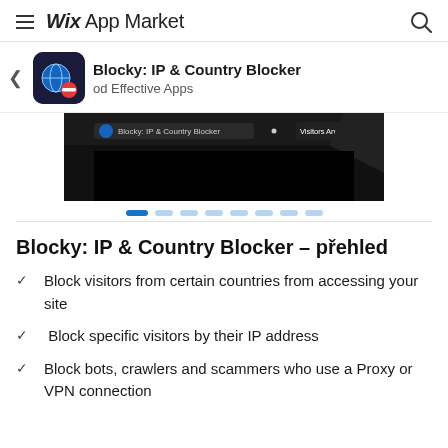Wix App Market
Blocky: IP & Country Blocker
od Effective Apps
[Figure (screenshot): Screenshot of Blocky: IP & Country Blocker app interface showing dark UI with 'Blocky: IP & Country Blocker' label and 'Visitors Analytics' button]
Blocky: IP & Country Blocker – přehled
Block visitors from certain countries from accessing your site
Block specific visitors by their IP address
Block bots, crawlers and scammers who use a Proxy or VPN connection